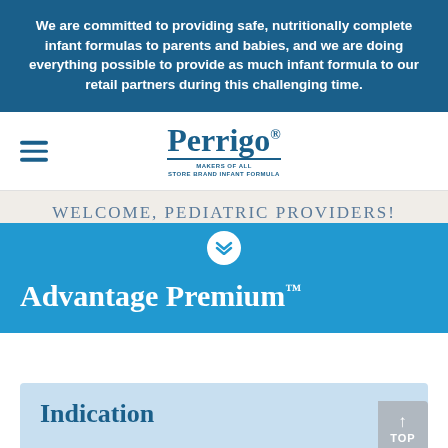We are committed to providing safe, nutritionally complete infant formulas to parents and babies, and we are doing everything possible to provide as much infant formula to our retail partners during this challenging time.
[Figure (logo): Perrigo logo with tagline 'MAKERS OF ALL STORE BRAND INFANT FORMULA']
WELCOME, PEDIATRIC PROVIDERS!
Advantage Premium™
Indication